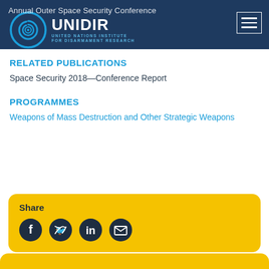Annual Outer Space Security Conference | UNIDIR – United Nations Institute for Disarmament Research
RELATED PUBLICATIONS
Space Security 2018—Conference Report
PROGRAMMES
Weapons of Mass Destruction and Other Strategic Weapons
[Figure (infographic): Share box with social media icons: Facebook, Twitter, LinkedIn, Email on yellow background]